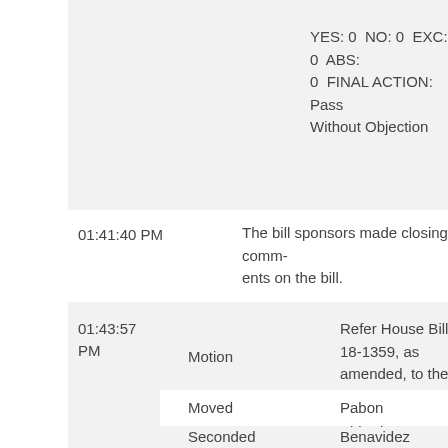YES: 0  NO: 0  EXC: 0  ABS: 0  FINAL ACTION: Pass Without Objection
01:41:40 PM
The bill sponsors made closing comments on the bill.
01:43:57 PM
Motion
Refer House Bill 18-1359, as amended, to the Committee on Appropriations.
Moved
Pabon
Seconded
Benavidez